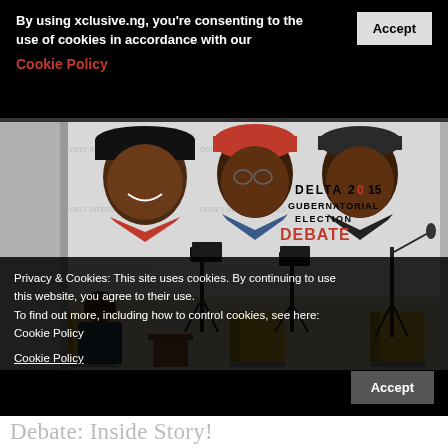By using xclusive.ng, you're consenting to the use of cookies in accordance with our
Cookie Policy
Accept
[Figure (photo): Delta 2015 Gubernatorial Election Debate banner with three candidates on a backdrop, one person seated in a yellow chair on stage with music stands and microphones]
Privacy & Cookies: This site uses cookies. By continuing to use this website, you agree to their use.
To find out more, including how to control cookies, see here: Cookie Policy
Cookie Policy
Accept
Debate: Inside Story!